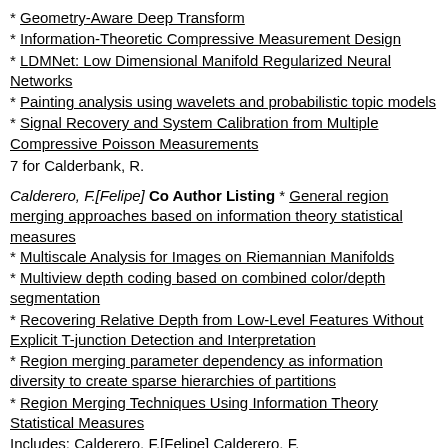* Geometry-Aware Deep Transform
* Information-Theoretic Compressive Measurement Design
* LDMNet: Low Dimensional Manifold Regularized Neural Networks
* Painting analysis using wavelets and probabilistic topic models
* Signal Recovery and System Calibration from Multiple Compressive Poisson Measurements
7 for Calderbank, R.
Calderero, F.[Felipe] Co Author Listing * General region merging approaches based on information theory statistical measures
* Multiscale Analysis for Images on Riemannian Manifolds
* Multiview depth coding based on combined color/depth segmentation
* Recovering Relative Depth from Low-Level Features Without Explicit T-junction Detection and Interpretation
* Region merging parameter dependency as information diversity to create sparse hierarchies of partitions
* Region Merging Techniques Using Information Theory Statistical Measures
Includes: Calderero, F.[Felipe] Calderero, F.
Calderita, L.V.[Luis V.] Co Author Listing * Perceiving the